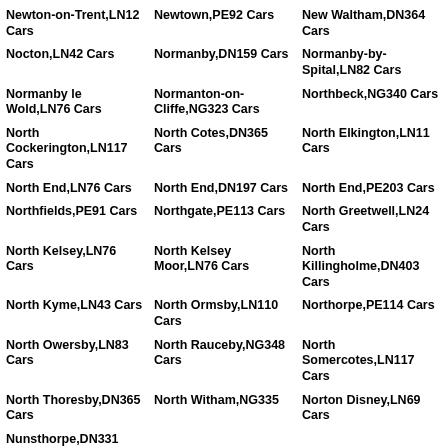Newton-on-Trent,LN12 Cars
Newtown,PE92 Cars
New Waltham,DN364 Cars
Nocton,LN42 Cars
Normanby,DN159 Cars
Normanby-by-Spital,LN82 Cars
Normanby le Wold,LN76 Cars
Normanton-on-Cliffe,NG323 Cars
Northbeck,NG340 Cars
North Cockerington,LN117 Cars
North Cotes,DN365 Cars
North Elkington,LN11 Cars
North End,LN76 Cars
North End,DN197 Cars
North End,PE203 Cars
Northfields,PE91 Cars
Northgate,PE113 Cars
North Greetwell,LN24 Cars
North Kelsey,LN76 Cars
North Kelsey Moor,LN76 Cars
North Killingholme,DN403 Cars
North Kyme,LN43 Cars
North Ormsby,LN110 Cars
Northorpe,PE114 Cars
North Owersby,LN83 Cars
North Rauceby,NG348 Cars
North Somercotes,LN117 Cars
North Thoresby,DN365 Cars
North Witham,NG335
Norton Disney,LN69 Cars
Nunsthorpe,DN331